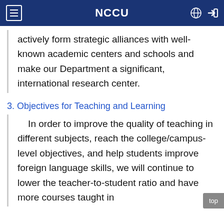NCCU
actively form strategic alliances with well-known academic centers and schools and make our Department a significant, international research center.
3. Objectives for Teaching and Learning
In order to improve the quality of teaching in different subjects, reach the college/campus-level objectives, and help students improve foreign language skills, we will continue to lower the teacher-to-student ratio and have more courses taught in